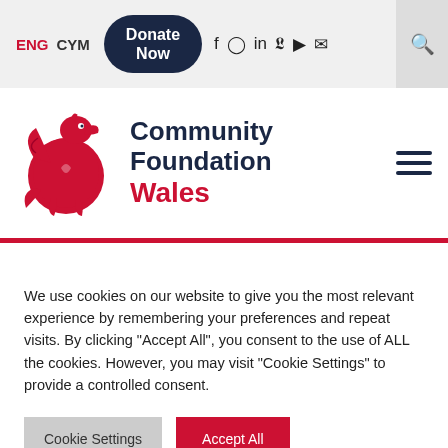ENG  CYM  Donate Now  [social icons: f, Instagram, in, Twitter, YouTube, email]  [search]
[Figure (logo): Community Foundation Wales logo with red dragon emblem on left and 'Community Foundation Wales' text on right. 'Community Foundation' in dark navy, 'Wales' in red.]
We use cookies on our website to give you the most relevant experience by remembering your preferences and repeat visits. By clicking "Accept All", you consent to the use of ALL the cookies. However, you may visit "Cookie Settings" to provide a controlled consent.
Cookie Settings    Accept All